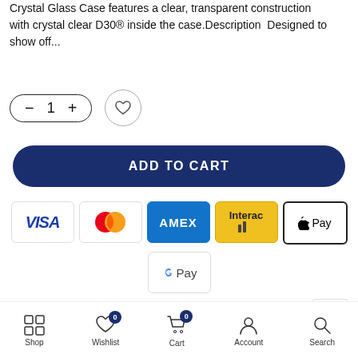Crystal Glass Case features a clear, transparent construction with crystal clear D30® inside the case. Description Designed to show off...
[Figure (screenshot): Quantity selector control with minus button, number 1, and plus button in a pill-shaped border, alongside a circular heart/wishlist button]
[Figure (infographic): ADD TO CART button in dark navy blue pill shape]
[Figure (infographic): Payment method icons: VISA, Mastercard, AMEX, Interac, Apple Pay, G Pay]
Ask a Question
SKU: 15-07463
Shop  Wishlist  Cart  Account  Search